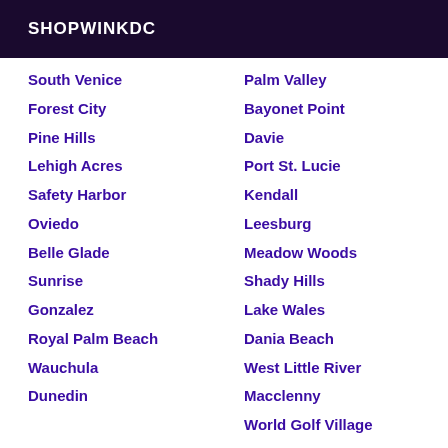SHOPWINKDC
South Venice
Forest City
Pine Hills
Lehigh Acres
Safety Harbor
Oviedo
Belle Glade
Sunrise
Gonzalez
Royal Palm Beach
Wauchula
Dunedin
Palm Valley
Bayonet Point
Davie
Port St. Lucie
Kendall
Leesburg
Meadow Woods
Shady Hills
Lake Wales
Dania Beach
West Little River
Macclenny
World Golf Village